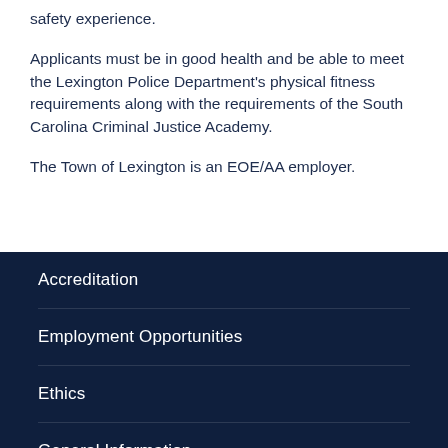safety experience.
Applicants must be in good health and be able to meet the Lexington Police Department's physical fitness requirements along with the requirements of the South Carolina Criminal Justice Academy.
The Town of Lexington is an EOE/AA employer.
Accreditation
Employment Opportunities
Ethics
General Information